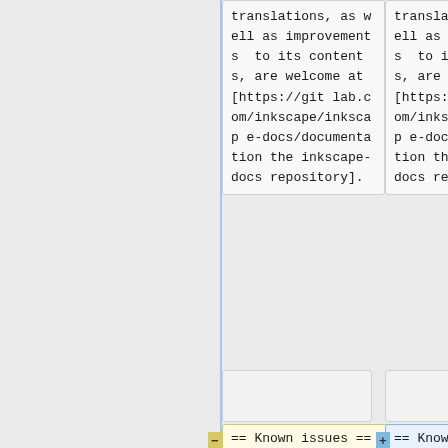translations, as well as improvements to its contents, are welcome at [https://gitlab.com/inkscape/inkscape-docs/documentation the inkscape-docs repository].
translations, as well as improvements to its contents, are welcome at [https://gitlab.com/inkscape/inkscape-docs/documentation the inkscape-docs repository].
== Known issues ==
== Known issues ==